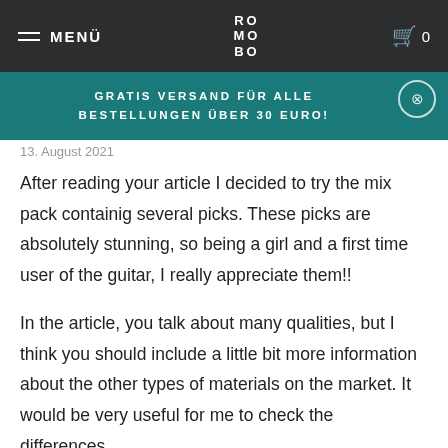MENÜ | RO MO BO | 🛒 0
GRATIS VERSAND FÜR ALLE BESTELLUNGEN ÜBER 30 EURO!
13. August 2021
After reading your article I decided to try the mix pack containig several picks. These picks are absolutely stunning, so being a girl and a first time user of the guitar, I really appreciate them!!
In the article, you talk about many qualities, but I think you should include a little bit more information about the other types of materials on the market. It would be very useful for me to check the differences.